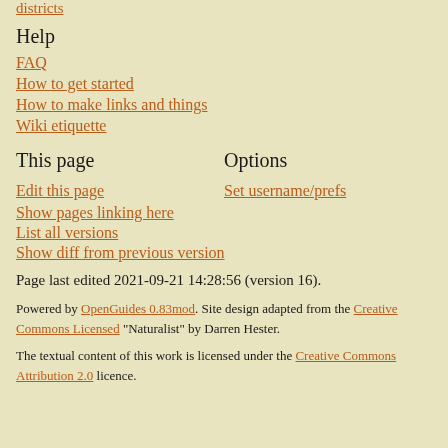districts
Help
FAQ
How to get started
How to make links and things
Wiki etiquette
This page
Options
Edit this page
Set username/prefs
Show pages linking here
List all versions
Show diff from previous version
Page last edited 2021-09-21 14:28:56 (version 16).
Powered by OpenGuides 0.83mod. Site design adapted from the Creative Commons Licensed "Naturalist" by Darren Hester.
The textual content of this work is licensed under the Creative Commons Attribution 2.0 licence.